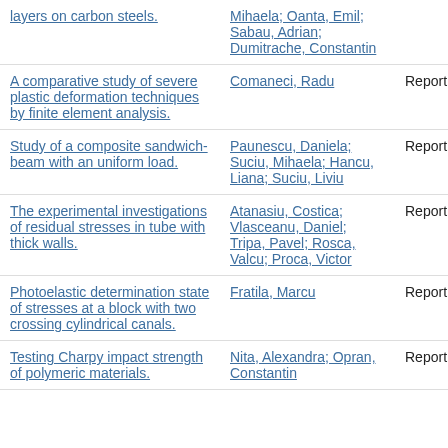| Title | Author | Type | Date |
| --- | --- | --- | --- |
| layers on carbon steels. | Mihaela; Oanta, Emil; Sabau, Adrian; Dumitrache, Constantin |  |  |
| A comparative study of severe plastic deformation techniques by finite element analysis. | Comaneci, Radu | Report | Jan 1, |
| Study of a composite sandwich-beam with an uniform load. | Paunescu, Daniela; Suciu, Mihaela; Hancu, Liana; Suciu, Liviu | Report | Jan 1, |
| The experimental investigations of residual stresses in tube with thick walls. | Atanasiu, Costica; Vlasceanu, Daniel; Tripa, Pavel; Rosca, Valcu; Proca, Victor | Report | Jan 1, |
| Photoelastic determination state of stresses at a block with two crossing cylindrical canals. | Fratila, Marcu | Report | Jan 1, |
| Testing Charpy impact strength of polymeric materials. | Nita, Alexandra; Opran, Constantin | Report | Jan 1, |